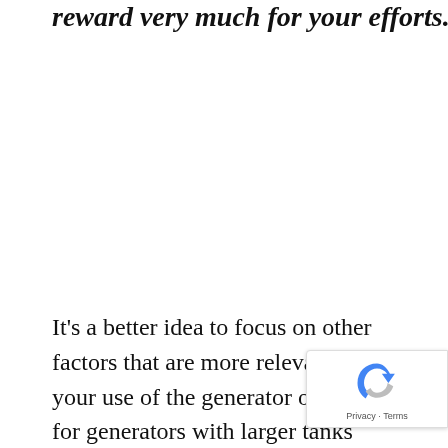…reward very much for your efforts.
It's a better idea to focus on other factors that are more relevant for your use of the generator or to opt for generators with larger tanks than it is to calculate fuel efficiencies.